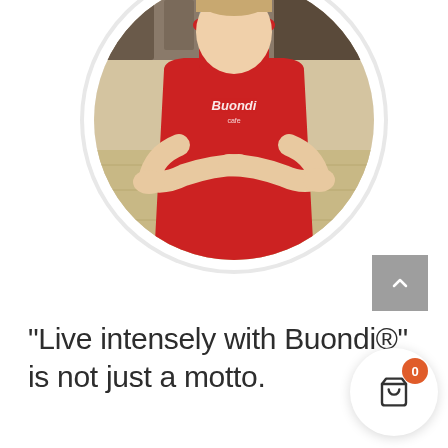[Figure (photo): Circular cropped photo of a person wearing a red Buondi cafe apron with arms crossed, standing in a kitchen/cafe setting]
"Live intensely with Buondi®" is not just a motto.